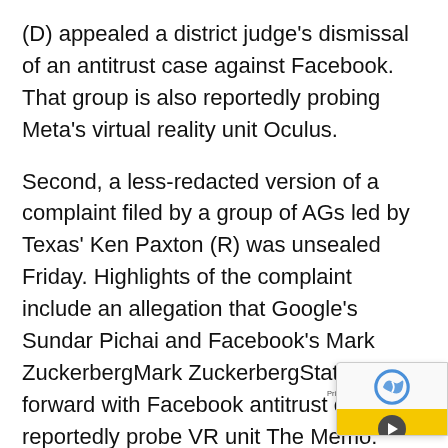(D) appealed a district judge's dismissal of an antitrust case against Facebook. That group is also reportedly probing Meta's virtual reality unit Oculus.
Second, a less-redacted version of a complaint filed by a group of AGs led by Texas' Ken Paxton (R) was unsealed Friday. Highlights of the complaint include an allegation that Google's Sundar Pichai and Facebook's Mark ZuckerbergMark ZuckerbergStates push forward with Facebook antitrust case, reportedly probe VR unit The Memo: Twitter ban on Marjorie Taylor Greene reignites political battles Best and worst crisis management in 2021 MORE signed off on